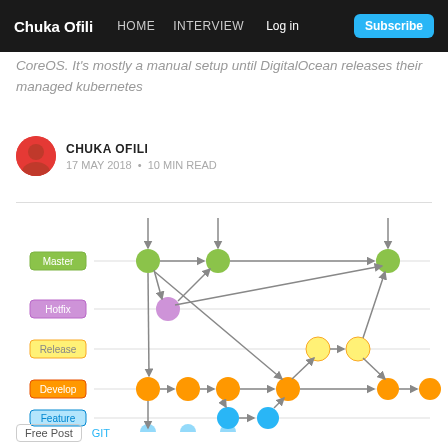Chuka Ofili  HOME  INTERVIEW  Log in  Subscribe
CoreOS. It's mostly a manual setup until DigitalOcean releases their managed kubernetes
CHUKA OFILI
17 MAY 2018 • 10 MIN READ
[Figure (flowchart): Git branching diagram showing Master, Hotfix, Release, Develop, and Feature branches with colored nodes and directional arrows illustrating branch merge and commit flow]
Free Post  GIT